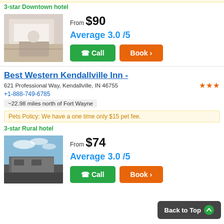3-star Downtown hotel
From $90
Average 3.0 /5
Best Western Kendallville Inn -
621 Professional Way, Kendallville, IN 46755
+1-888-749-6785
~22.98 miles north of Fort Wayne
Pets Policy: We have a one time only $15 pet fee.
3-star Rural hotel
From $74
Average 3.0 /5
Back to Top